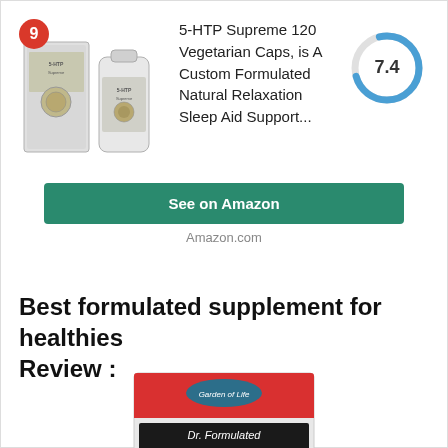[Figure (photo): Product image of 5-HTP Supreme supplement bottles/boxes, with a red circle badge showing number 9, and a donut gauge showing score 7.4 in blue/gray]
5-HTP Supreme 120 Vegetarian Caps, is A Custom Formulated Natural Relaxation Sleep Aid Support...
See on Amazon
Amazon.com
Best formulated supplement for healthies Review :
[Figure (photo): Partial product image of Garden of Life Dr. Formulated Brain Health supplement box with red top and black label]